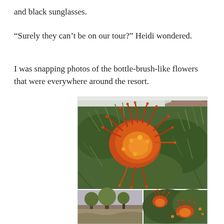and black sunglasses.
“Surely they can’t be on our tour?” Heidi wondered.
I was snapping photos of the bottle-brush-like flowers that were everywhere around the resort.
[Figure (photo): Close-up photograph of a red and orange grevillea (bottle-brush-like) flower surrounded by green needle-like foliage, with a building visible in the background. Below are two smaller photos: left shows trees/vegetation, right shows more grevillea flowers with red/orange blooms.]